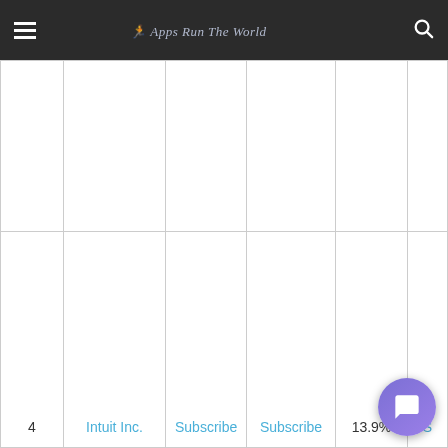Apps Run The World
| # | Company | Col3 | Col4 | Col5 | Col6 |
| --- | --- | --- | --- | --- | --- |
|  |  |  |  |  |  |
| 4 | Intuit Inc. | Subscribe | Subscribe | 13.9% | S |